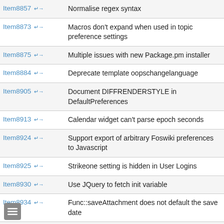| Item | Description |
| --- | --- |
| Item8857 ↱ | Normalise regex syntax |
| Item8873 ↱ | Macros don't expand when used in topic preference settings |
| Item8875 ↱ | Multiple issues with new Package.pm installer |
| Item8884 ↱ | Deprecate template oopschangelanguage |
| Item8905 ↱ | Document DIFFRENDERSTYLE in DefaultPreferences |
| Item8913 ↱ | Calendar widget can't parse epoch seconds |
| Item8924 ↱ | Support export of arbitrary Foswiki preferences to Javascript |
| Item8925 ↱ | Strikeone setting is hidden in User Logins |
| Item8930 ↱ | Use JQuery to fetch init variable |
| Item8934 ↱ | Func::saveAttachment does not default the save date |
| Item8936 ↱ | Incorrectly closed script tag markup |